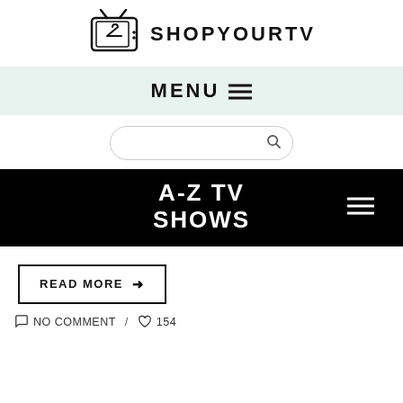[Figure (logo): ShopYourTV logo with a TV icon showing a hanger and the text SHOPYOURTV]
MENU ☰
[Figure (other): Search input box with a magnifying glass icon]
A-Z TV SHOWS
READ MORE →
NO COMMENT  /  ♡ 154